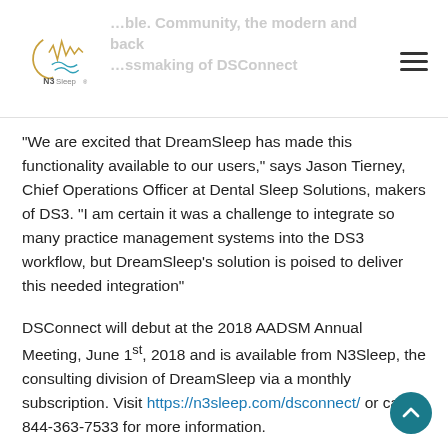N3 Sleep logo and navigation header
“We are excited that DreamSleep has made this functionality available to our users,” says Jason Tierney, Chief Operations Officer at Dental Sleep Solutions, makers of DS3. “I am certain it was a challenge to integrate so many practice management systems into the DS3 workflow, but DreamSleep’s solution is poised to deliver this needed integration”
DSConnect will debut at the 2018 AADSM Annual Meeting, June 1st, 2018 and is available from N3Sleep, the consulting division of DreamSleep via a monthly subscription. Visit https://n3sleep.com/dsconnect/ or call 844-363-7533 for more information.